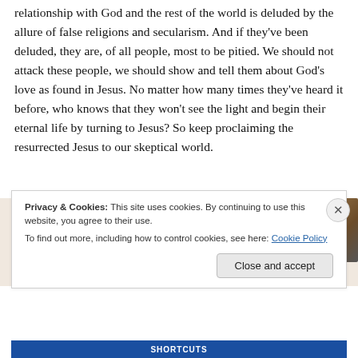relationship with God and the rest of the world is deluded by the allure of false religions and secularism. And if they've been deluded, they are, of all people, most to be pitied. We should not attack these people, we should show and tell them about God's love as found in Jesus. No matter how many times they've heard it before, who knows that they won't see the light and begin their eternal life by turning to Jesus? So keep proclaiming the resurrected Jesus to our skeptical world.
[Figure (photo): Partial image showing hands holding a phone/book, with a beige/cream background on the left and a close-up of tattooed hands on the right.]
Privacy & Cookies: This site uses cookies. By continuing to use this website, you agree to their use.
To find out more, including how to control cookies, see here: Cookie Policy